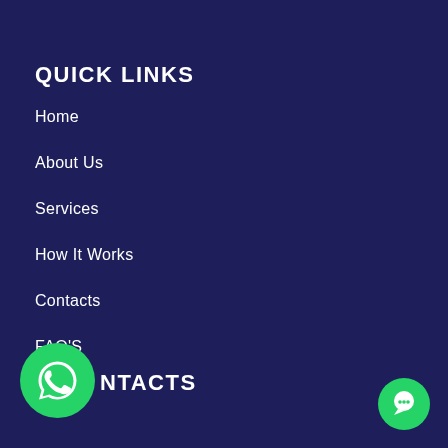QUICK LINKS
Home
About Us
Services
How It Works
Contacts
FAQ'S
[Figure (logo): WhatsApp button icon - green circle with white phone handset]
CONTACTS
[Figure (logo): Chat bubble button icon - small green circle with white chat bubble]